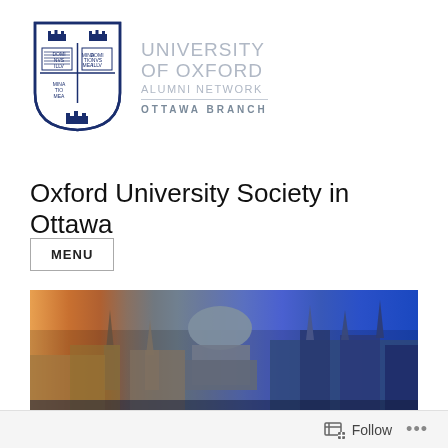[Figure (logo): University of Oxford Alumni Network Ottawa Branch logo with shield and text]
Oxford University Society in Ottawa
MENU
[Figure (photo): Aerial panoramic photo of Oxford city skyline showing historic university buildings and the Radcliffe Camera dome, with warm sunset tones on the left transitioning to blue twilight on the right]
Follow ...